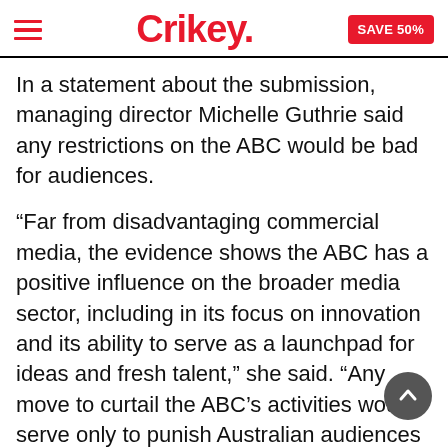Crikey. SAVE 50%
In a statement about the submission, managing director Michelle Guthrie said any restrictions on the ABC would be bad for audiences.
“Far from disadvantaging commercial media, the evidence shows the ABC has a positive influence on the broader media sector, including in its focus on innovation and its ability to serve as a launchpad for ideas and fresh talent,” she said. “Any move to curtail the ABC’s activities would serve only to punish Australian audiences who trust and value us.”
The review was first announced as part of the government’s negotiations with One Nation to get its